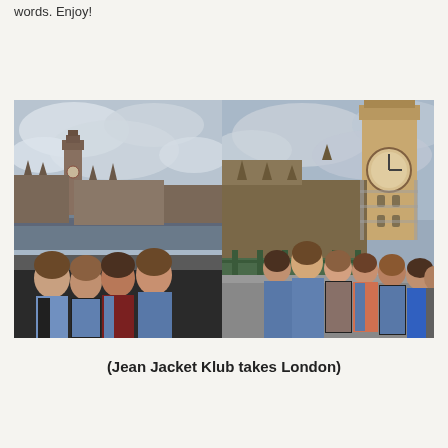words. Enjoy!
[Figure (photo): Two side-by-side photos of a group of young women wearing jean jackets, posed in front of Big Ben and the Houses of Parliament in London. Left photo shows four women on a bridge with Big Ben in the background across the Thames. Right photo shows the same group of women plus others on Westminster Bridge with Big Ben very close behind them.]
(Jean Jacket Klub takes London)